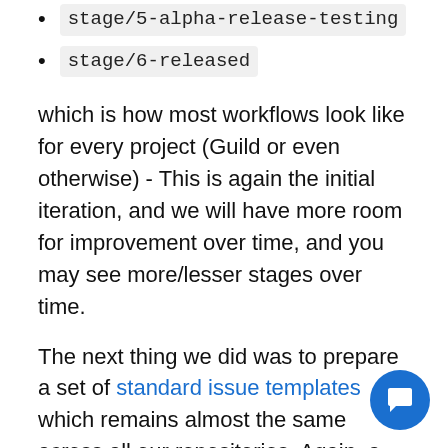stage/5-alpha-release-testing
stage/6-released
which is how most workflows look like for every project (Guild or even otherwise) - This is again the initial iteration, and we will have more room for improvement over time, and you may see more/lesser stages over time.
The next thing we did was to prepare a set of standard issue templates which remains almost the same across all our repositories. Again, a work in progress we will tweak this as the need arises. This gives us an ability to suggest a standard template to file issues and